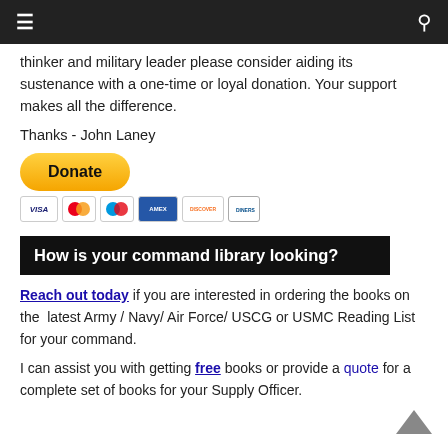≡  Q
thinker and military leader please consider aiding its sustenance with a one-time or loyal donation. Your support makes all the difference.
Thanks - John Laney
[Figure (other): PayPal Donate button with payment card icons (Visa, Mastercard, Maestro, American Express, Discover, Diners Club)]
How is your command library looking?
Reach out today if you are interested in ordering the books on the latest Army / Navy/ Air Force/ USCG or USMC Reading List for your command.
I can assist you with getting free books or provide a quote for a complete set of books for your Supply Officer.